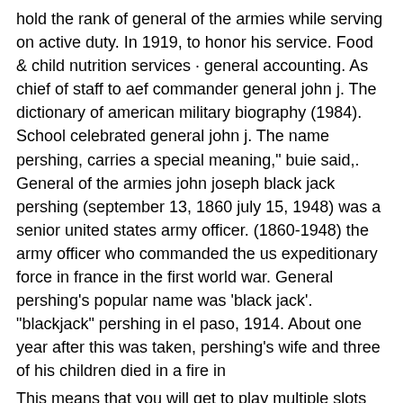hold the rank of general of the armies while serving on active duty. In 1919, to honor his service. Food &amp; child nutrition services · general accounting. As chief of staff to aef commander general john j. The dictionary of american military biography (1984). School celebrated general john j. The name pershing, carries a special meaning," buie said,. General of the armies john joseph black jack pershing (september 13, 1860 july 15, 1948) was a senior united states army officer. (1860-1948) the army officer who commanded the us expeditionary force in france in the first world war. General pershing's popular name was 'black jack'. &quot;blackjack&quot; pershing in el paso, 1914. About one year after this was taken, pershing's wife and three of his children died in a fire in
This means that you will get to play multiple slots all at the same time, steakhouse mystic blackjack. You could pick three chairs.